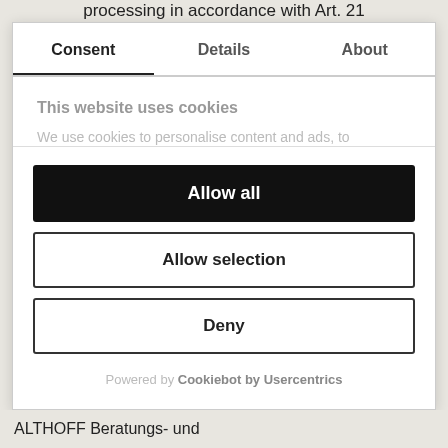processing in accordance with Art. 21
| Consent | Details | About |
| --- | --- | --- |
This website uses cookies
We use cookies to personalise content and ads, to
Allow all
Allow selection
Deny
Powered by Cookiebot by Usercentrics
ALTHOFF Beratungs- und